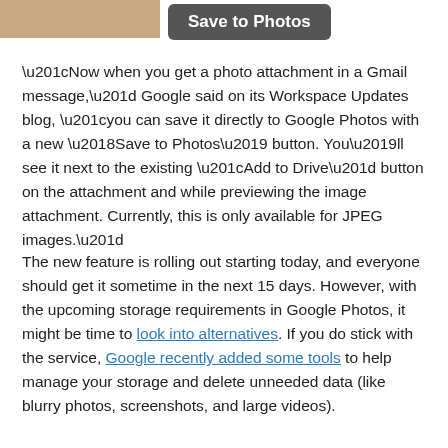[Figure (screenshot): Partial screenshot showing a 'Save to Photos' button on a dark rounded rectangle background, positioned at the top of the page]
“Now when you get a photo attachment in a Gmail message,” Google said on its Workspace Updates blog, “you can save it directly to Google Photos with a new ‘Save to Photos’ button. You’ll see it next to the existing “Add to Drive” button on the attachment and while previewing the image attachment. Currently, this is only available for JPEG images.”
The new feature is rolling out starting today, and everyone should get it sometime in the next 15 days. However, with the upcoming storage requirements in Google Photos, it might be time to look into alternatives. If you do stick with the service, Google recently added some tools to help manage your storage and delete unneeded data (like blurry photos, screenshots, and large videos).